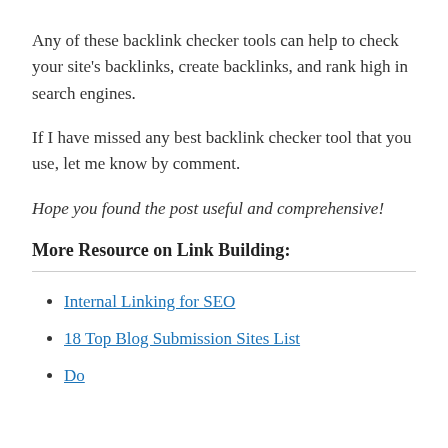Any of these backlink checker tools can help to check your site's backlinks, create backlinks, and rank high in search engines.
If I have missed any best backlink checker tool that you use, let me know by comment.
Hope you found the post useful and comprehensive!
More Resource on Link Building:
Internal Linking for SEO
18 Top Blog Submission Sites List
Dofollow and Nofollow links in SEO